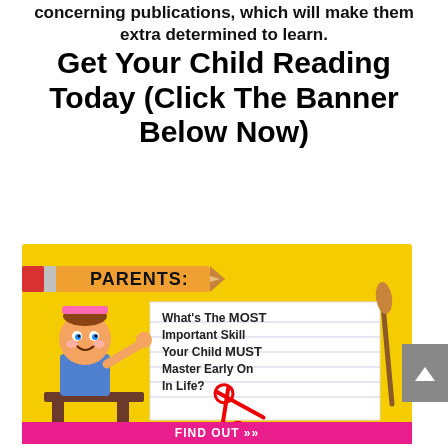concerning publications, which will make them extra determined to learn.
Get Your Child Reading Today (Click The Banner Below Now)
[Figure (illustration): Promotional banner ad for a children's reading program. Yellow background with a pencil graphic and 'PARENTS:' label at top. A cartoon girl sitting at a desk on the left. A notebook-style area on the right with text: 'What’s The MOST Important Skill Your Child MUST Master Early On In Life?' Scissors and a paintbrush as decorative elements. A pink 'FIND OUT >>' button at the bottom.]